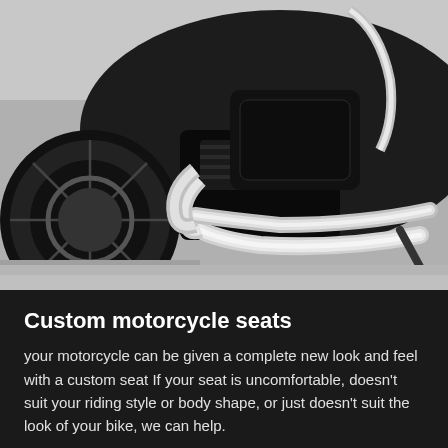[Figure (photo): Close-up photo of a custom motorcycle showing chrome exhaust pipes, black engine, and wheel against a light concrete background]
Custom motorcycle seats
your motorcycle can be given a complete new look and feel with a custom seat If your seat is uncomfortable, doesn't suit your riding style or body shape, or just doesn't suit the look of your bike, we can help.
Seats profiles can be cut down,